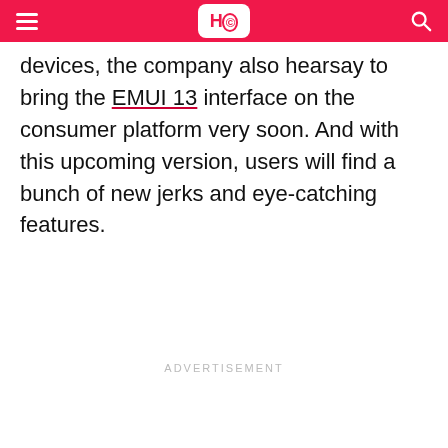HCo (logo)
devices, the company also hearsay to bring the EMUI 13 interface on the consumer platform very soon. And with this upcoming version, users will find a bunch of new jerks and eye-catching features.
ADVERTISEMENT